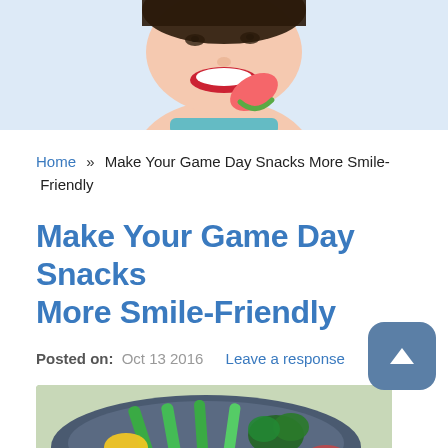[Figure (photo): Close-up of a woman smiling with red lips, eating a slice of watermelon, on a light blue background]
Home » Make Your Game Day Snacks More Smile-Friendly
Make Your Game Day Snacks More Smile-Friendly
Posted on: Oct 13 2016   Leave a response
[Figure (photo): A plate with colorful vegetables including green cucumber sticks, yellow and green peppers, and broccoli on a dark blue/grey plate]